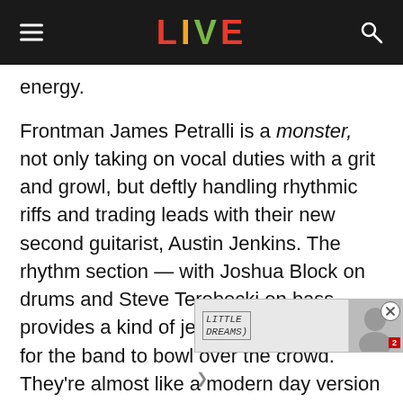LIVE
energy.
Frontman James Petralli is a monster, not only taking on vocal duties with a grit and growl, but deftly handling rhythmic riffs and trading leads with their new second guitarist, Austin Jenkins. The rhythm section — with Joshua Block on drums and Steve Terebecki on bass — provides a kind of jet-engine propulsion for the band to bowl over the crowd. They're almost like a modern day version
[Figure (screenshot): Partially visible advertisement overlay showing text 'LITTLE DREAMS' with a photo of a person, and a red broadcast logo.]